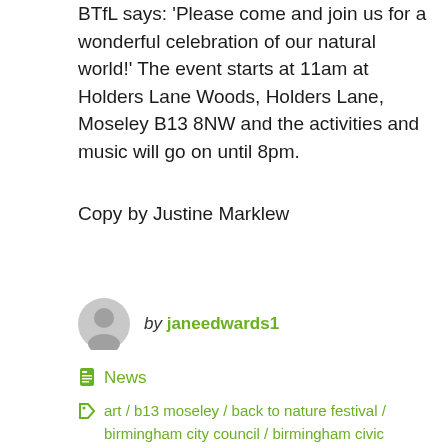BTfL says: 'Please come and join us for a wonderful celebration of our natural world!' The event starts at 11am at Holders Lane Woods, Holders Lane, Moseley B13 8NW and the activities and music will go on until 8pm.
Copy by Justine Marklew
by janeedwards1
News
art / b13 moseley / back to nature festival / birmingham city council / birmingham civic society / Birmingham Trees for Life / BTFL / celebration / Community / community engagement / Community. Friends Groups. / environmental action / environmental awareness / environmental festival /